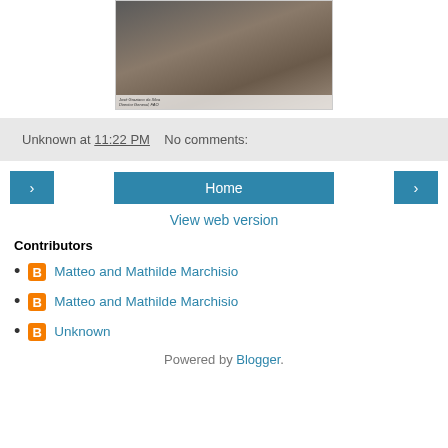[Figure (photo): Photo of people at a conference table exchanging documents, with nameplates visible including 'José Graziano da Silva, Director General, FAO']
Unknown at 11:22 PM    No comments:
‹   Home   ›
View web version
Contributors
Matteo and Mathilde Marchisio
Matteo and Mathilde Marchisio
Unknown
Powered by Blogger.